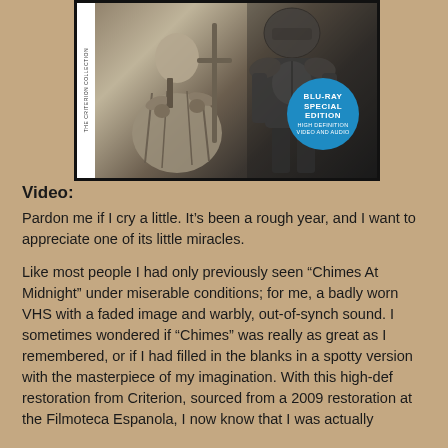[Figure (photo): Criterion Collection Blu-ray Special Edition cover of 'Chimes at Midnight'. Black and white image showing two medieval figures, one in robes on the left and one in armor on the right. A blue circular badge reads 'BLU-RAY SPECIAL EDITION' with 'HIGH DEFINITION VIDEO AND AUDIO' text. White spine on the left side.]
Video:
Pardon me if I cry a little. It’s been a rough year, and I want to appreciate one of its little miracles.
Like most people I had only previously seen “Chimes At Midnight” under miserable conditions; for me, a badly worn VHS with a faded image and warbly, out-of-synch sound. I sometimes wondered if “Chimes” was really as great as I remembered, or if I had filled in the blanks in a spotty version with the masterpiece of my imagination. With this high-def restoration from Criterion, sourced from a 2009 restoration at the Filmoteca Espanola, I now know that I was actually